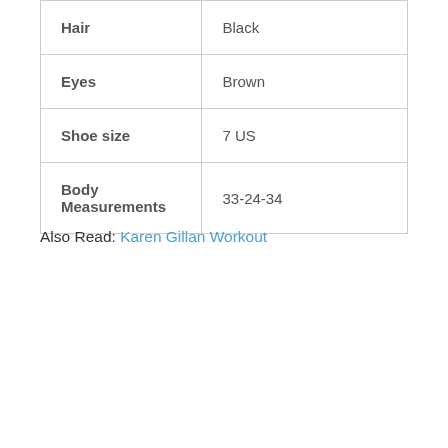| Hair | Black |
| Eyes | Brown |
| Shoe size | 7 US |
| Body Measurements | 33-24-34 |
Also Read: Karen Gillan Workout